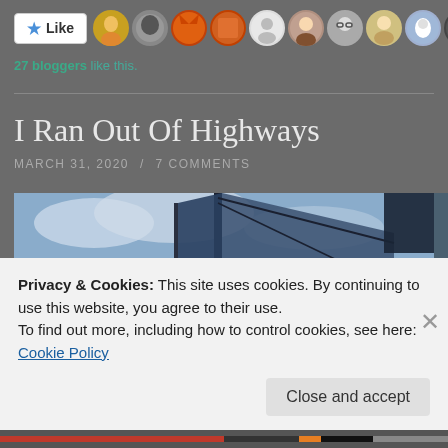[Figure (other): Like button with star icon and row of blogger avatar photos]
27 bloggers like this.
I Ran Out Of Highways
MARCH 31, 2020 / 7 COMMENTS
[Figure (photo): Sailing boat rigging and mast against cloudy sky]
Privacy & Cookies: This site uses cookies. By continuing to use this website, you agree to their use.
To find out more, including how to control cookies, see here:
Cookie Policy
Close and accept